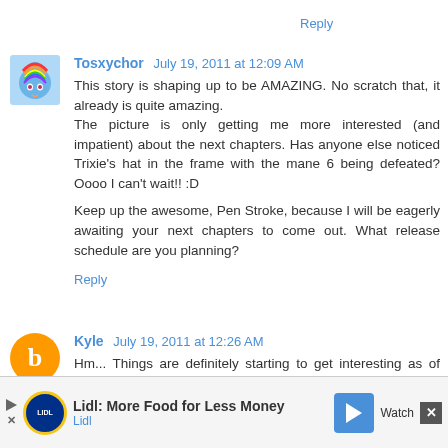Reply
Tosxychor  July 19, 2011 at 12:09 AM
This story is shaping up to be AMAZING. No scratch that, it already is quite amazing.
The picture is only getting me more interested (and impatient) about the next chapters. Has anyone else noticed Trixie's hat in the frame with the mane 6 being defeated? Oooo I can't wait!! :D

Keep up the awesome, Pen Stroke, because I will be eagerly awaiting your next chapters to come out. What release schedule are you planning?
Reply
Kyle  July 19, 2011 at 12:26 AM
Hm... Things are definitely starting to get interesting as of chapter 3.
Lidl: More Food for Less Money
Lidl